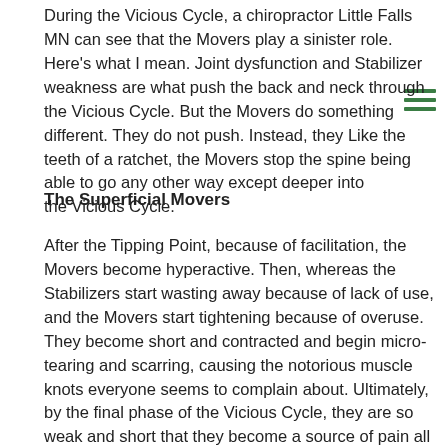During the Vicious Cycle, a chiropractor Little Falls MN can see that the Movers play a sinister role. Here's what I mean. Joint dysfunction and Stabilizer weakness are what push the back and neck through the Vicious Cycle. But the Movers do something different. They do not push. Instead, they Like the teeth of a ratchet, the Movers stop the spine being able to go any other way except deeper into the Vicious Cycle.
The Superficial Movers
After the Tipping Point, because of facilitation, the Movers become hyperactive. Then, whereas the Stabilizers start wasting away because of lack of use, and the Movers start tightening because of overuse. They become short and contracted and begin micro-tearing and scarring, causing the notorious muscle knots everyone seems to complain about. Ultimately, by the final phase of the Vicious Cycle, they are so weak and short that they become a source of pain all on their own.